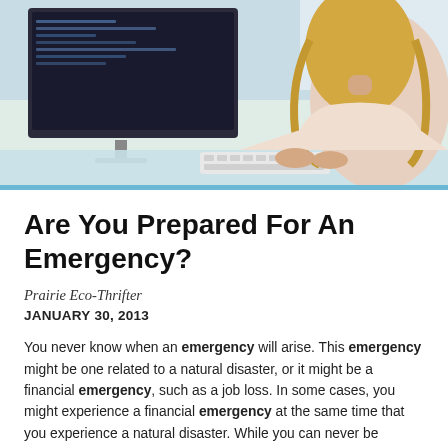[Figure (photo): Woman with long blonde hair sitting at a desk working on an iMac computer, viewed from behind/side angle, with keyboard and mouse visible on a glass desk.]
Are You Prepared For An Emergency?
Prairie Eco-Thrifter
JANUARY 30, 2013
You never know when an emergency will arise. This emergency might be one related to a natural disaster, or it might be a financial emergency, such as a job loss. In some cases, you might experience a financial emergency at the same time that you experience a natural disaster. While you can never be completely prepared for the toll an emergency takes on you, it is possible to limit the harm done by an unexpected turn of events. Physical Emergency Preparedness